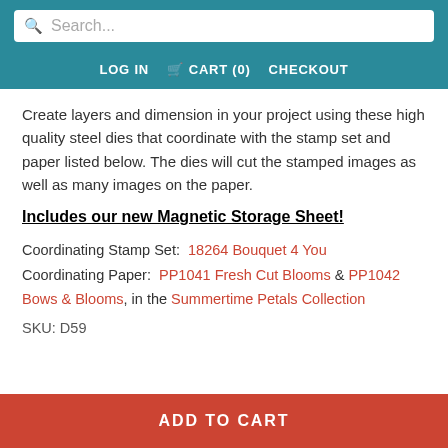Search... | LOG IN | CART (0) | CHECKOUT
Create layers and dimension in your project using these high quality steel dies that coordinate with the stamp set and paper listed below. The dies will cut the stamped images as well as many images on the paper.
Includes our new Magnetic Storage Sheet!
Coordinating Stamp Set:  18264 Bouquet 4 You
Coordinating Paper:  PP1041 Fresh Cut Blooms & PP1042 Bows & Blooms, in the Summertime Petals Collection
SKU: D59
ADD TO CART